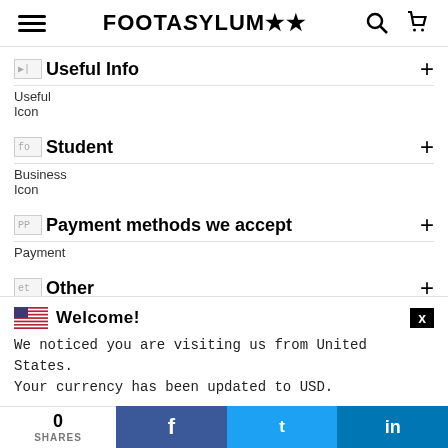FOOTASYLUM (logo with hamburger menu, search, and cart icons)
Useful Info
Useful Icon
Student
Business Icon
Payment methods we accept
Payment
Other
Welcome!  We noticed you are visiting us from United States. Your currency has been updated to USD.
0 SHARES | Facebook | Twitter | LinkedIn